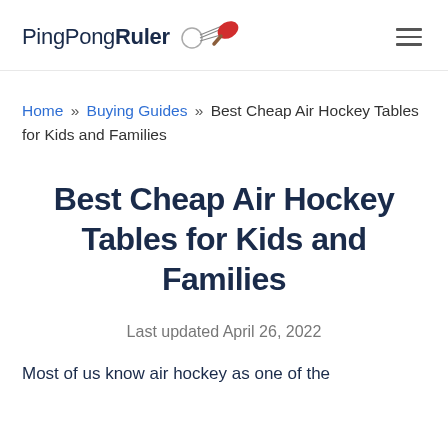PingPongRuler [logo with ping pong paddle and ball]
Home » Buying Guides » Best Cheap Air Hockey Tables for Kids and Families
Best Cheap Air Hockey Tables for Kids and Families
Last updated April 26, 2022
Most of us know air hockey as one of the